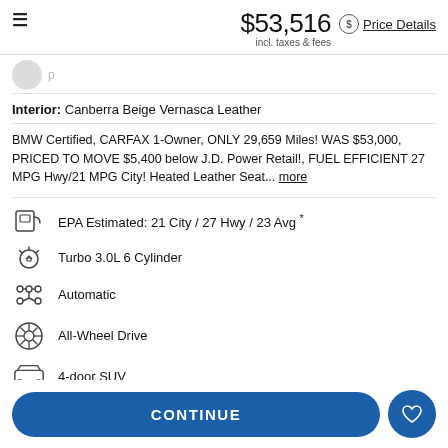$53,516 incl. taxes & fees — Price Details
Interior: Canberra Beige Vernasca Leather
BMW Certified, CARFAX 1-Owner, ONLY 29,659 Miles! WAS $53,000, PRICED TO MOVE $5,400 below J.D. Power Retail!, FUEL EFFICIENT 27 MPG Hwy/21 MPG City! Heated Leather Seat... more
EPA Estimated: 21 City / 27 Hwy / 23 Avg *
Turbo 3.0L 6 Cylinder
Automatic
All-Wheel Drive
4-door SUV
CONTINUE